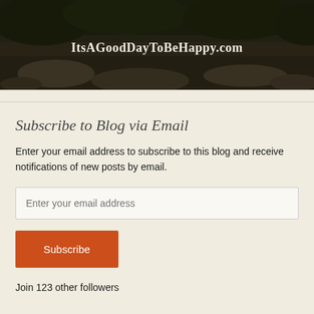[Figure (photo): Dark, moody nature/forest photo with rocks and foliage serving as blog banner with text overlay 'ItsAGoodDayToBeHappy.com']
Subscribe to Blog via Email
Enter your email address to subscribe to this blog and receive notifications of new posts by email.
Enter your email address
Subscribe
Join 123 other followers